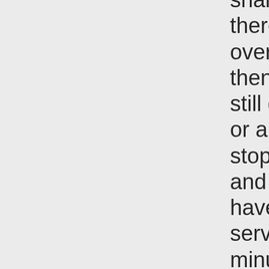shared segment. If there's just one overtake in Attleboro then MBTA trains could still go on to Warwick, or alternatively make stops in Pawtucket and Providence but have irregular gaps in service (sometimes 2 minutes, sometimes 15), and continue to Warwick with a travel time of 1:10 or 1:25 rather than 0:55. We